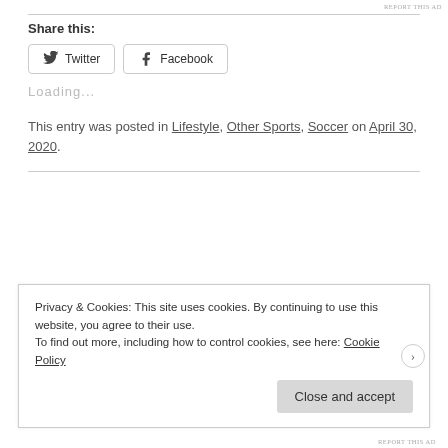REPORT THIS AD
Share this:
Twitter  Facebook
Loading...
This entry was posted in Lifestyle, Other Sports, Soccer on April 30, 2020.
Privacy & Cookies: This site uses cookies. By continuing to use this website, you agree to their use.
To find out more, including how to control cookies, see here: Cookie Policy
Close and accept
REPORT THIS AD